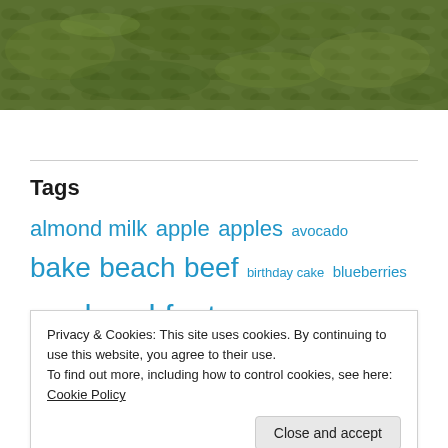[Figure (photo): Grass/lawn photo strip at the top of the page]
Tags
almond milk apple apples avocado bake beach beef birthday cake blueberries bread breakfast broccoli brownie brown sugar buns butter cabbage cake Candy corn Caribbean Carribean carrots casserole cauliflower
Privacy & Cookies: This site uses cookies. By continuing to use this website, you agree to their use. To find out more, including how to control cookies, see here: Cookie Policy
Close and accept